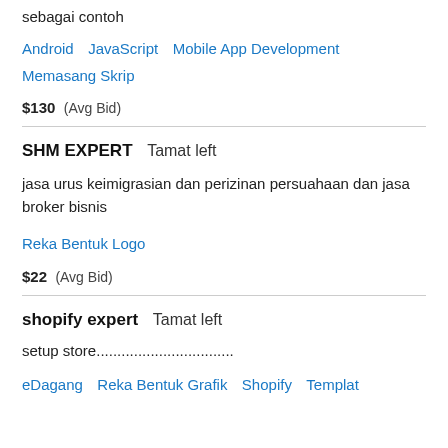sebagai contoh
Android   JavaScript   Mobile App Development   Memasang Skrip
$130  (Avg Bid)
SHM EXPERT   Tamat left
jasa urus keimigrasian dan perizinan persuahaan dan jasa broker bisnis
Reka Bentuk Logo
$22  (Avg Bid)
shopify expert   Tamat left
setup store.................................
eDagang   Reka Bentuk Grafik   Shopify   Templat